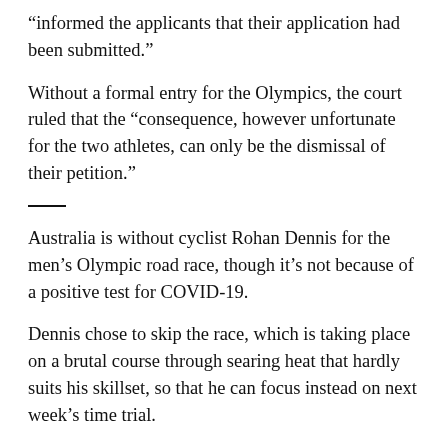“informed the applicants that their application had been submitted.”
Without a formal entry for the Olympics, the court ruled that the “consequence, however unfortunate for the two athletes, can only be the dismissal of their petition.”
Australia is without cyclist Rohan Dennis for the men’s Olympic road race, though it’s not because of a positive test for COVID-19.
Dennis chose to skip the race, which is taking place on a brutal course through searing heat that hardly suits his skillset, so that he can focus instead on next week’s time trial.
Dennis, who has won stages in each of the three Grand Tours, is also one of the best in the world in the race against the clock. He’s a two-time time trial world